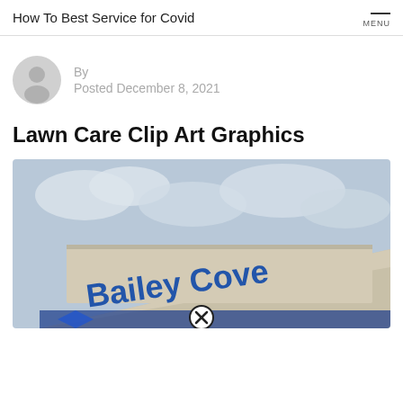How To Best Service for Covid
By
Posted December 8, 2021
Lawn Care Clip Art Graphics
[Figure (photo): Outdoor photo showing a building sign reading 'Bailey Cove' against a cloudy sky, with a close button overlay at the bottom center.]